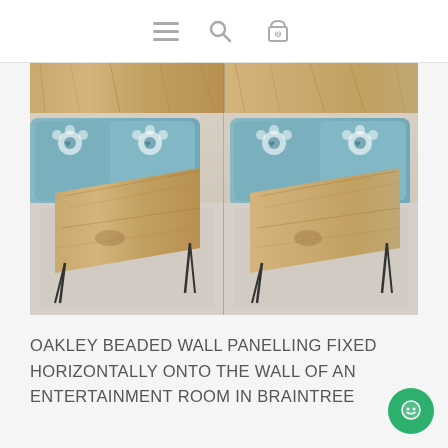Navigation bar with hamburger menu, search icon, and cart icon (0 items)
[Figure (photo): Product photo collage showing two side-by-side views of a wooden coffee table with hairpin legs in black metal, placed in a living room with a blue floral sofa in the background. The table top has a natural oak wood grain finish. The upper strip shows a zoomed-in top view of the wood surface.]
OAKLEY BEADED WALL PANELLING FIXED HORIZONTALLY ONTO THE WALL OF AN ENTERTAINMENT ROOM IN BRAINTREE